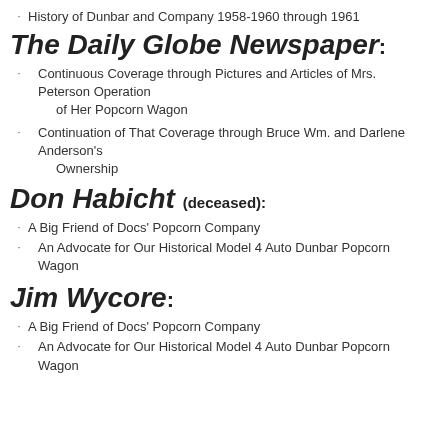History of Dunbar and Company 1958-1960 through 1961
The Daily Globe Newspaper:
Continuous Coverage through Pictures and Articles of Mrs. Peterson Operation of Her Popcorn Wagon
Continuation of That Coverage through Bruce Wm. and Darlene Anderson's Ownership
Don Habicht (deceased):
A Big Friend of Docs' Popcorn Company
An Advocate for Our Historical Model 4 Auto Dunbar Popcorn Wagon
Jim Wycore:
A Big Friend of Docs' Popcorn Company
An Advocate for Our Historical Model 4 Auto Dunbar Popcorn Wagon